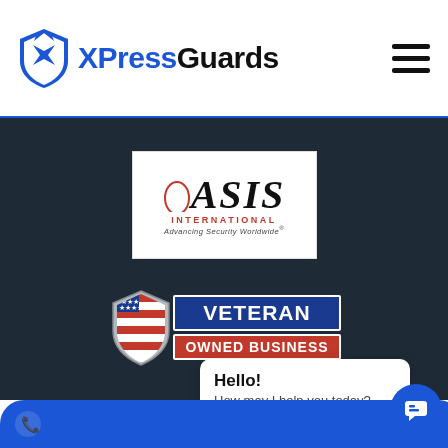[Figure (logo): XPressGuards logo with blue shield icon and text 'XPressGuards' (XPress in blue, Guards in black)]
[Figure (logo): ASIS International - Advancing Security Worldwide logo on white background]
[Figure (logo): Veteran Owned Business badge with American flag shield]
Hello! How may I help you today?